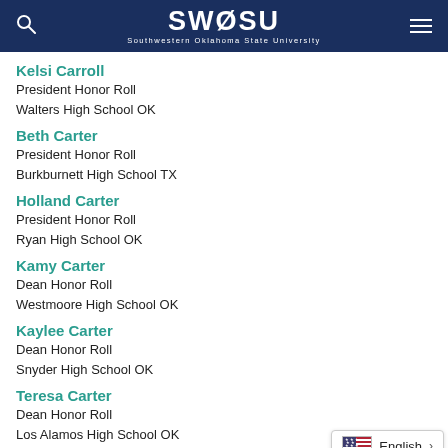SWOSU — Southwestern Oklahoma State University
Kelsi Carroll
President Honor Roll
Walters High School OK
Beth Carter
President Honor Roll
Burkburnett High School TX
Holland Carter
President Honor Roll
Ryan High School OK
Kamy Carter
Dean Honor Roll
Westmoore High School OK
Kaylee Carter
Dean Honor Roll
Snyder High School OK
Teresa Carter
Dean Honor Roll
Los Alamos High School OK